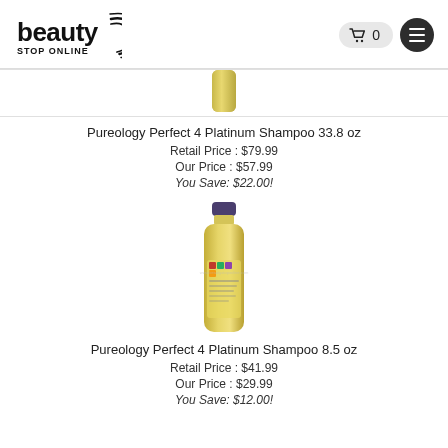beauty STOP ONLINE
[Figure (photo): Partial view of a gold/cream Pureology Perfect 4 Platinum Shampoo bottle, 33.8 oz, showing the top half cut off at the top of the page section]
Pureology Perfect 4 Platinum Shampoo 33.8 oz
Retail Price : $79.99
Our Price : $57.99
You Save: $22.00!
[Figure (photo): Full view of a gold/cream Pureology Perfect 4 Platinum Shampoo bottle, 8.5 oz, with purple cap and colorful label]
Pureology Perfect 4 Platinum Shampoo 8.5 oz
Retail Price : $41.99
Our Price : $29.99
You Save: $12.00!